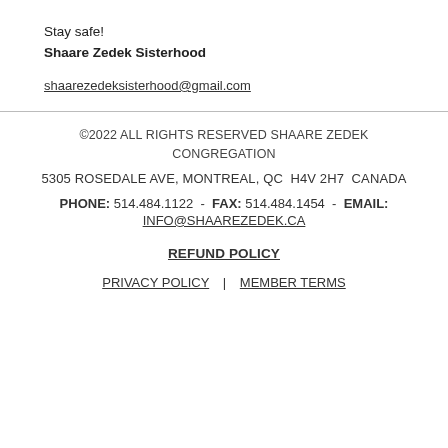Stay safe!
Shaare Zedek Sisterhood
shaarezedeksisterhood@gmail.com
©2022 ALL RIGHTS RESERVED SHAARE ZEDEK CONGREGATION
5305 ROSEDALE AVE, MONTREAL, QC  H4V 2H7  CANADA
PHONE: 514.484.1122  -  FAX: 514.484.1454  -  EMAIL:
INFO@SHAAREZEDEK.CA
REFUND POLICY
PRIVACY POLICY  |  MEMBER TERMS